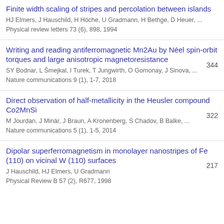Finite width scaling of stripes and percolation between islands
HJ Elmers, J Hauschild, H Höche, U Gradmann, H Bethge, D Heuer, ...
Physical review letters 73 (6), 898, 1994
Writing and reading antiferromagnetic Mn2Au by Néel spin-orbit torques and large anisotropic magnetoresistance [344]
SY Bodnar, L Šmejkal, I Turek, T Jungwirth, O Gomonay, J Sinova, ...
Nature communications 9 (1), 1-7, 2018
Direct observation of half-metallicity in the Heusler compound Co2MnSi [322]
M Jourdan, J Minár, J Braun, A Kronenberg, S Chadov, B Balke, ...
Nature communications 5 (1), 1-5, 2014
Dipolar superferromagnetism in monolayer nanostripes of Fe (110) on vicinal W (110) surfaces [217]
J Hauschild, HJ Elmers, U Gradmann
Physical Review B 57 (2), R677, 1998